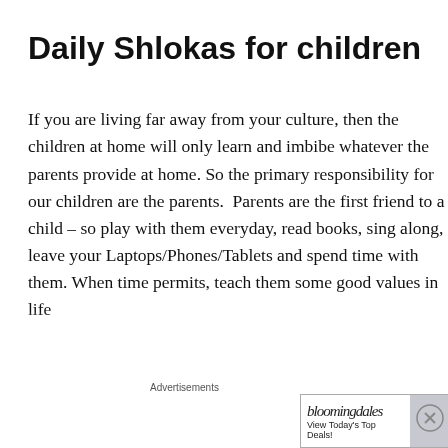Daily Shlokas for children
If you are living far away from your culture, then the children at home will only learn and imbibe whatever the parents provide at home. So the primary responsibility for our children are the parents.  Parents are the first friend to a child – so play with them everyday, read books, sing along, leave your Laptops/Phones/Tablets and spend time with them. When time permits, teach them some good values in life
[Figure (other): Bloomingdale's advertisement banner with logo, woman in hat, and 'SHOP NOW >' button. Text: 'View Today's Top Deals!']